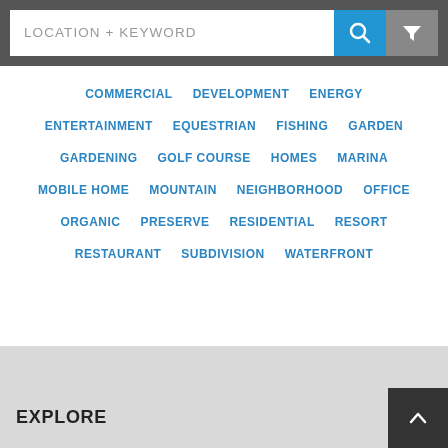[Figure (screenshot): Search bar with 'LOCATION + KEYWORD' placeholder text, blue search button with magnifying glass icon, and gray filter button with funnel icon]
COMMERCIAL
DEVELOPMENT
ENERGY
ENTERTAINMENT
EQUESTRIAN
FISHING
GARDEN
GARDENING
GOLF COURSE
HOMES
MARINA
MOBILE HOME
MOUNTAIN
NEIGHBORHOOD
OFFICE
ORGANIC
PRESERVE
RESIDENTIAL
RESORT
RESTAURANT
SUBDIVISION
WATERFRONT
EXPLORE